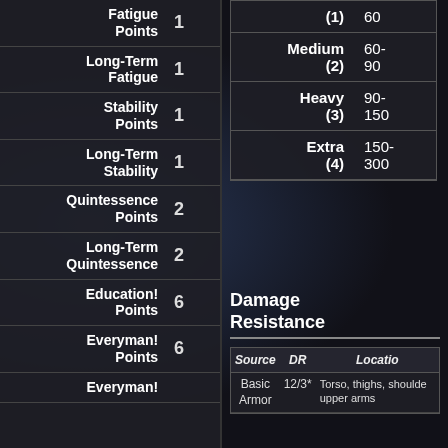| Stat Name | Value |
| --- | --- |
| Fatigue Points | 1 |
| Long-Term Fatigue | 1 |
| Stability Points | 1 |
| Long-Term Stability | 1 |
| Quintessence Points | 2 |
| Long-Term Quintessence | 2 |
| Education! Points | 6 |
| Everyman! Points | 6 |
| Everyman! |  |
| Type | Range |
| --- | --- |
| (1) | 60 |
| Medium (2) | 60-90 |
| Heavy (3) | 90-150 |
| Extra (4) | 150-300 |
Damage Resistance
| Source | DR | Location |
| --- | --- | --- |
| Basic Armor | 12/3* | Torso, thighs, shoulde upper arms |